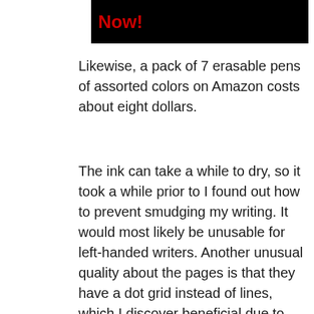[Figure (other): Black banner with red bold text reading 'Now!']
Likewise, a pack of 7 erasable pens of assorted colors on Amazon costs about eight dollars.
The ink can take a while to dry, so it took a while prior to I found out how to prevent smudging my writing. It would most likely be unusable for left-handed writers. Another unusual quality about the pages is that they have a dot grid instead of lines, which I discover beneficial due to the fact that I use the horizontal lines for taking normal notes and the grid for diagrams or tables.